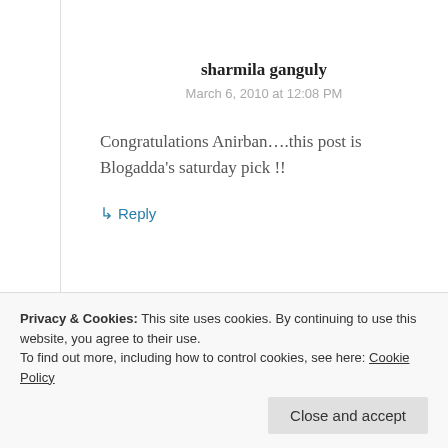sharmila ganguly
March 6, 2010 at 12:08 PM
Congratulations Anirban….this post is Blogadda's saturday pick !!
↳ Reply
Privacy & Cookies: This site uses cookies. By continuing to use this website, you agree to their use.
To find out more, including how to control cookies, see here: Cookie Policy
Close and accept